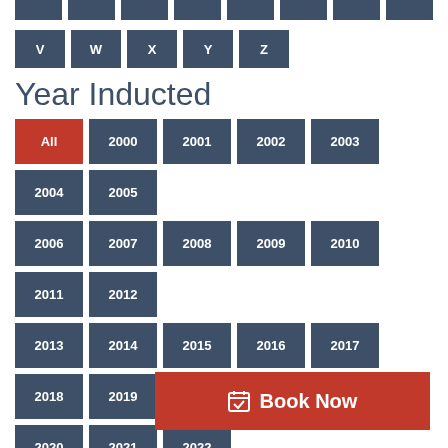V W X Y Z (alphabet navigation buttons)
Year Inducted
All (active), 2000, 2001, 2002, 2003, 2004, 2005
2006, 2007, 2008, 2009, 2010, 2011, 2012
2013, 2014, 2015, 2016, 2017, 2018, 2019
2020, 2021, 2022
Search the Wall of Fame
Search Text input with Go button
Book Now button